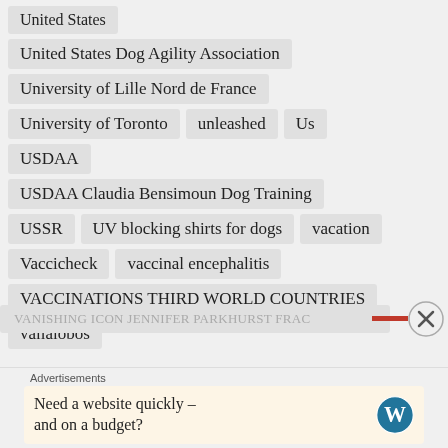United States
United States Dog Agility Association
University of Lille Nord de France
University of Toronto
unleashed
Us
USDAA
USDAA Claudia Bensimoun Dog Training
USSR
UV blocking shirts for dogs
vacation
Vaccicheck
vaccinal encephalitis
VACCINATIONS THIRD WORLD COUNTRIES
vallalobos
VANISHING ICON JENNIFER PARKHURST FRAC...
Advertisements
Need a website quickly – and on a budget?